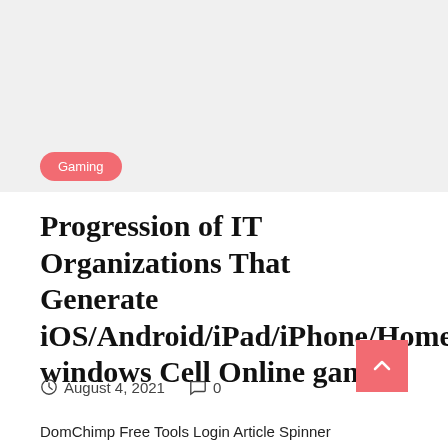[Figure (photo): Light gray hero image placeholder at top of page]
Gaming
Progression of IT Organizations That Generate iOS/Android/iPad/iPhone/Home windows Cell Online games
August 4, 2021   0
DomChimp Free Tools Login Article Spinner